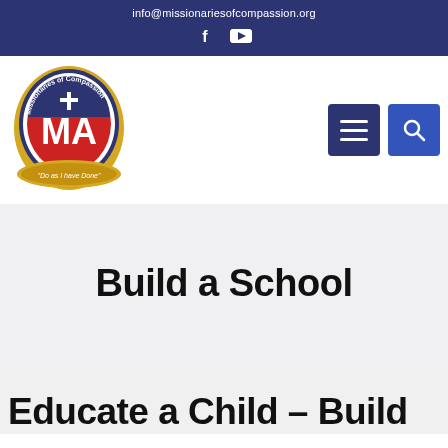info@missionariesofcompassion.org
[Figure (logo): Missionaries of Compassion circular logo with red seal, white cross/MA monogram, gold banner reading 'Do as I have Done']
Build a School
Educate a Child – Build